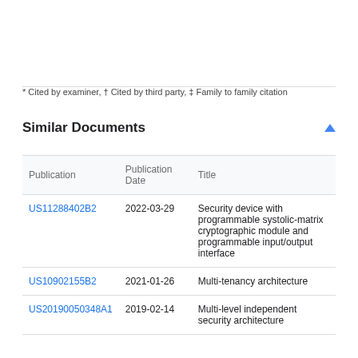* Cited by examiner, † Cited by third party, ‡ Family to family citation
Similar Documents
| Publication | Publication Date | Title |
| --- | --- | --- |
| US11288402B2 | 2022-03-29 | Security device with programmable systolic-matrix cryptographic module and programmable input/output interface |
| US10902155B2 | 2021-01-26 | Multi-tenancy architecture |
| US20190050348A1 | 2019-02-14 | Multi-level independent security architecture |